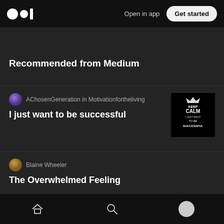Medium — Open in app | Get started
Recommended from Medium
AChosenGeneration in Motivationfortheliving
I just want to be successful
[Figure (photo): Keep Calm I Just Want To Be Successful motivational poster]
Blaine Wheeler
The Overwhelmed Feeling
Anmol Verma
Home | Search | Profile